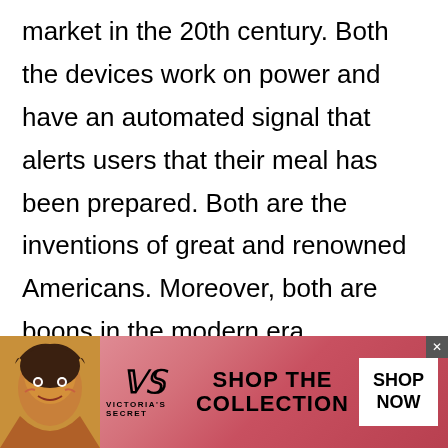market in the 20th century. Both the devices work on power and have an automated signal that alerts users that their meal has been prepared. Both are the inventions of great and renowned Americans. Moreover, both are boons in the modern era.

Sandwich maker is only for making toast of different flavors. On the other hand, a
[Figure (other): Victoria's Secret advertisement banner at the bottom of the page, featuring a woman model on the left, the Victoria's Secret logo in the center, 'SHOP THE COLLECTION' text, and a 'SHOP NOW' button on the right. Pink/red gradient background.]